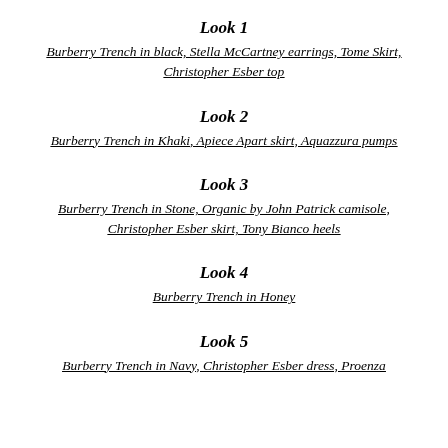Look 1
Burberry Trench in black, Stella McCartney earrings, Tome Skirt, Christopher Esber top
Look 2
Burberry Trench in Khaki, Apiece Apart skirt, Aquazzura pumps
Look 3
Burberry Trench in Stone, Organic by John Patrick camisole, Christopher Esber skirt, Tony Bianco heels
Look 4
Burberry Trench in Honey
Look 5
Burberry Trench in Navy, Christopher Esber dress, Proenza